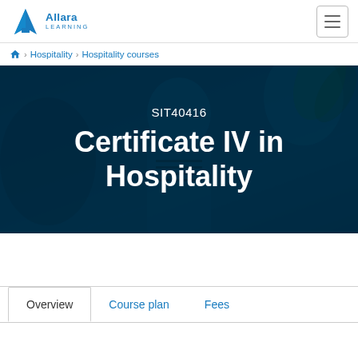Allara Learning — navigation header with hamburger menu
🏠 › Hospitality › Hospitality courses
[Figure (photo): Blue-tinted hero image of a hospitality worker in dark uniform, restaurant/cafe background. Overlaid with course code SIT40416 and title Certificate IV in Hospitality in white text.]
SIT40416 Certificate IV in Hospitality
Overview | Course plan | Fees (tab navigation)